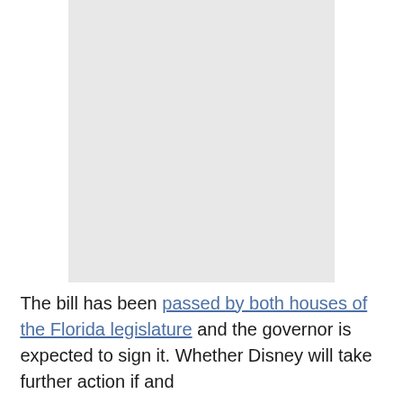[Figure (other): Large light gray image placeholder occupying the upper portion of the page]
The bill has been passed by both houses of the Florida legislature and the governor is expected to sign it. Whether Disney will take further action if and